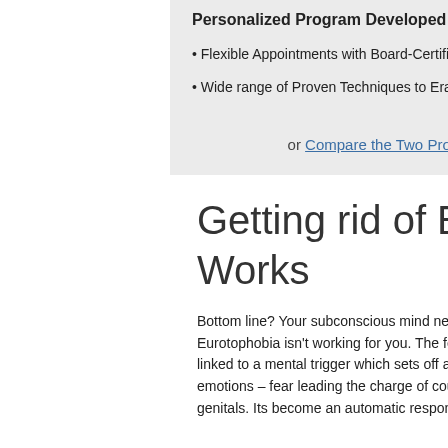Personalized Program Developed with Own Practitio...
Flexible Appointments with Board-Certified Practitione...
Wide range of Proven Techniques to Eradicate Your Fe...
or Compare the Two Programs
Getting rid of Eurotophobia: Ho... Works
Bottom line? Your subconscious mind needs to be re-trained. Yo... Eurotophobia isn't working for you. The fear persists because it i... linked to a mental trigger which sets off a whole range of powerf... emotions – fear leading the charge of course – at even the sligh... genitals. Its become an automatic response.